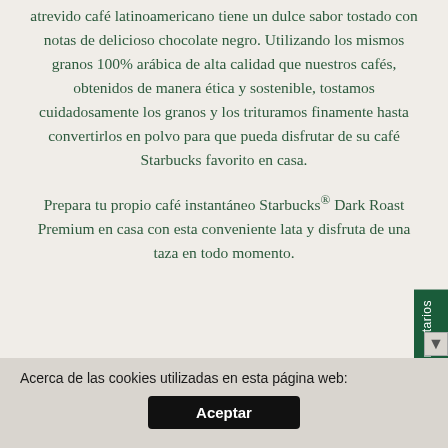atrevido café latinoamericano tiene un dulce sabor tostado con notas de delicioso chocolate negro. Utilizando los mismos granos 100% arábica de alta calidad que nuestros cafés, obtenidos de manera ética y sostenible, tostamos cuidadosamente los granos y los trituramos finamente hasta convertirlos en polvo para que pueda disfrutar de su café Starbucks favorito en casa.
Prepara tu propio café instantáneo Starbucks® Dark Roast Premium en casa con esta conveniente lata y disfruta de una taza en todo momento.
Acerca de las cookies utilizadas en esta página web:
Aceptar